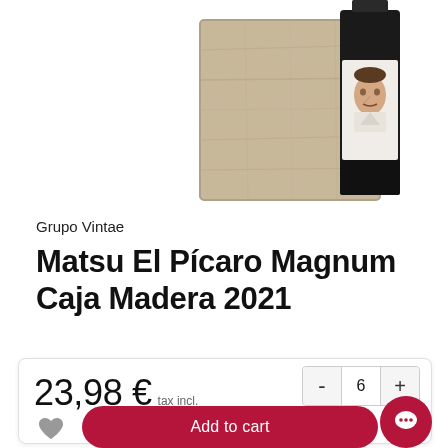[Figure (photo): Product photo showing a wine bottle (Matsu El Pícaro) next to a wooden gift box, with a man's face visible on the wine label, partially cropped at top of page]
Grupo Vintae
Matsu El Pícaro Magnum Caja Madera 2021
23,98 € tax incl.
- 6 +
Add to cart